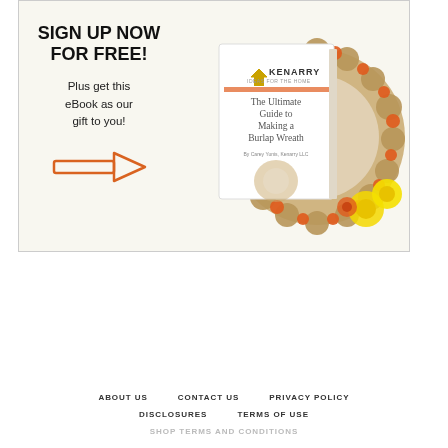[Figure (illustration): Advertisement banner for Kenarry 'Ideas for the Home' with text 'SIGN UP NOW FOR FREE! Plus get this eBook as our gift to you!' on the left, an orange arrow pointing right, and a book cover image on the right showing a burlap wreath with orange and yellow flowers, titled 'The Ultimate Guide to Making a Burlap Wreath' by Carey Yunis, Kenarry LLC.]
ABOUT US   CONTACT US   PRIVACY POLICY   DISCLOSURES   TERMS OF USE   SHOP TERMS AND CONDITIONS